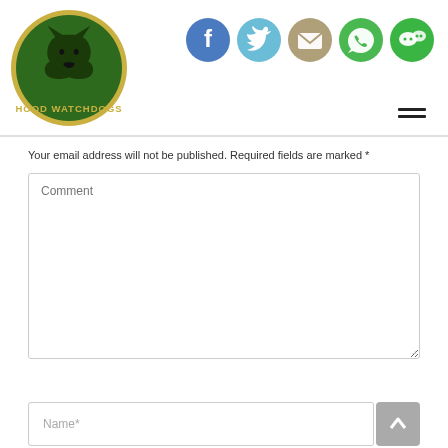[Figure (logo): Hood Watchdogs logo: green circle with yellow border, silhouette of a dog/wolf head, text HOOD WATCHDOGS in yellow]
[Figure (infographic): Row of 5 social media icon circles: Facebook (blue), Twitter (light blue), Email/envelope (tan/beige), WhatsApp (green), WeChat (green)]
Your email address will not be published. Required fields are marked *
[Figure (screenshot): Comment textarea input field with placeholder text 'Comment']
[Figure (screenshot): Name* text input field with scroll-to-top button (grey arrow up)]